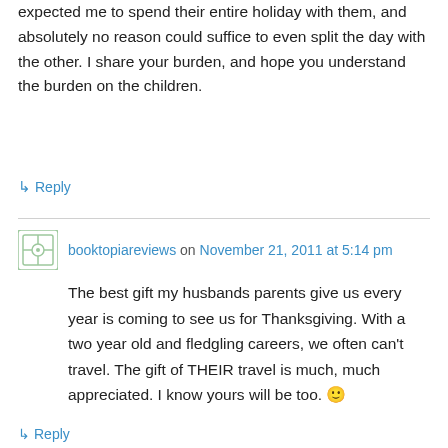expected me to spend their entire holiday with them, and absolutely no reason could suffice to even split the day with the other. I share your burden, and hope you understand the burden on the children.
↳ Reply
booktopiareviews on November 21, 2011 at 5:14 pm
The best gift my husbands parents give us every year is coming to see us for Thanksgiving. With a two year old and fledgling careers, we often can't travel. The gift of THEIR travel is much, much appreciated. I know yours will be too. 🙂
↳ Reply